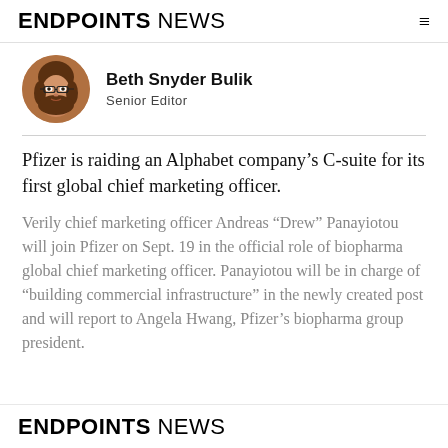ENDPOINTS NEWS
[Figure (photo): Circular headshot photo of Beth Snyder Bulik, a woman with brown hair and glasses]
Beth Snyder Bulik
Senior Editor
Pfizer is raiding an Alphabet company's C-suite for its first global chief marketing officer.
Verily chief marketing officer Andreas “Drew” Panayiotou will join Pfizer on Sept. 19 in the official role of biopharma global chief marketing officer. Panayiotou will be in charge of “building commercial infrastructure” in the newly created post and will report to Angela Hwang, Pfizer’s biopharma group president.
ENDPOINTS NEWS